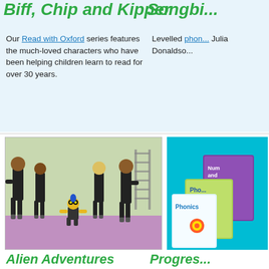Biff, Chip and Kipper
Songbi...
Our Read with Oxford series features the much-loved characters who have been helping children learn to read for over 30 years.
Levelled phon... Julia Donaldso...
[Figure (photo): Animated characters from Alien Adventures series: four human children in dark futuristic suits and a small yellow alien robot, standing in a sci-fi environment.]
[Figure (photo): Partial view of colorful children's educational books on a cyan/turquoise background, showing Phonics and Number and Counting titles.]
Alien Adventures
Progres...